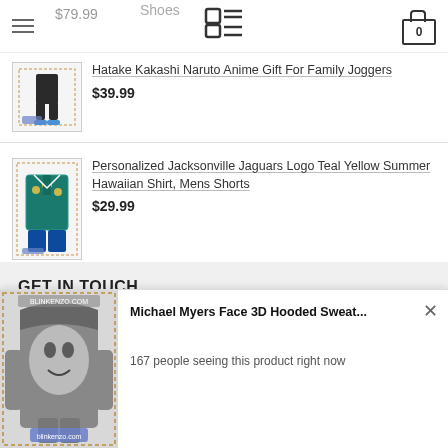$79.99 | Shoes | [logo] | [cart: 0]
Hatake Kakashi Naruto Anime Gift For Family Joggers — $39.99
Personalized Jacksonville Jaguars Logo Teal Yellow Summer Hawaiian Shirt, Mens Shorts — $29.99
GET IN TOUCH
Email: admin@blinkenzo.com
[Figure (screenshot): Popup notification showing Michael Myers Face 3D Hooded Sweat... with text '167 people seeing this product right now' and a close X button]